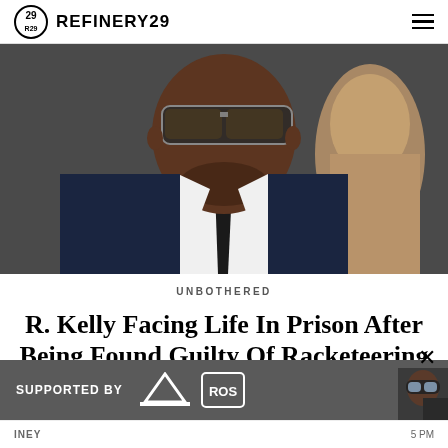REFINERY29
[Figure (photo): Man wearing sunglasses and a dark navy suit with a black tie, photographed close-up, with another person visible in the background.]
UNBOTHERED
R. Kelly Facing Life In Prison After Being Found Guilty Of Racketeering & Sex Trafficking
[Figure (infographic): Advertisement bar: SUPPORTED BY adidas and ROS logos, with a person wearing ski goggles on the right side.]
INEY ... 5 PM